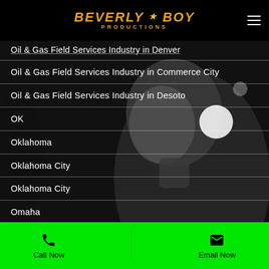Beverly Boy Productions
Oil & Gas Field Services Industry in Denver
Oil & Gas Field Services Industry in Commerce City
Oil & Gas Field Services Industry in Desoto
OK
Oklahoma
Oklahoma City
Oklahoma City
Omaha
Omaha
Onboarding Video
Oneida County NY
Call Now  |  Email Now